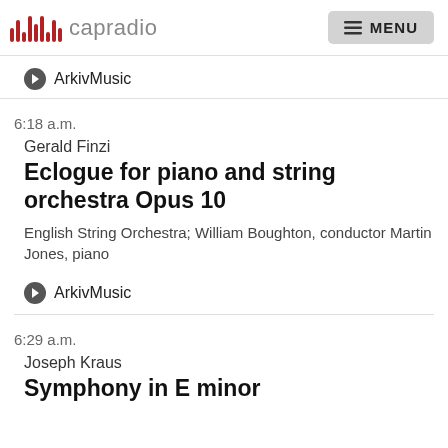capradio   MENU
ArkivMusic
6:18 a.m.
Gerald Finzi
Eclogue for piano and string orchestra Opus 10
English String Orchestra; William Boughton, conductor Martin Jones, piano
ArkivMusic
6:29 a.m.
Joseph Kraus
Symphony in E minor